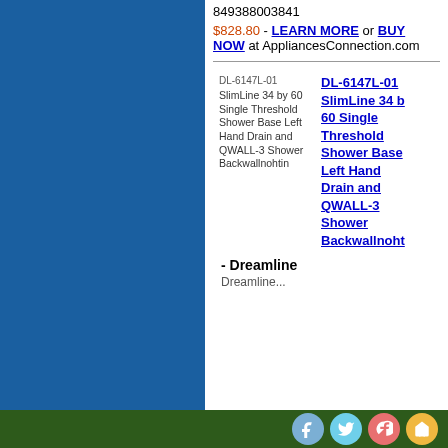849388003841
$828.80 - LEARN MORE or BUY NOW at AppliancesConnection.com
[Figure (other): Product thumbnail placeholder for DL-6147L-01 shower base]
DL-6147L-01 SlimLine 34 by 60 Single Threshold Shower Base Left Hand Drain and QWALL-3 Shower Backwallnohtin
DL-6147L-01 SlimLine 34 by 60 Single Threshold Shower Base Left Hand Drain and QWALL-3 Shower Backwallnoht
- Dreamline
Dreamline...
Social icons: Facebook, Twitter, Google+, Home